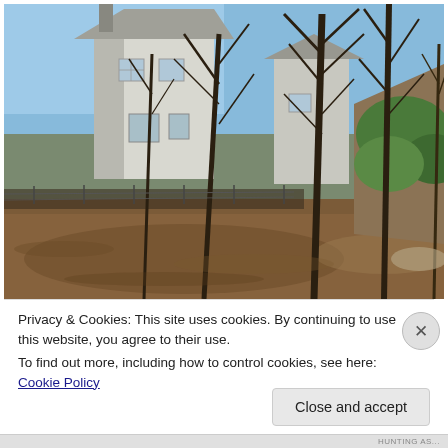[Figure (photo): Exterior photograph of a white multi-story house partially obscured by bare deciduous trees, with a wooded hillside covered in fallen leaves in the foreground. Blue sky visible in background. Late autumn/winter scene.]
Privacy & Cookies: This site uses cookies. By continuing to use this website, you agree to their use.
To find out more, including how to control cookies, see here: Cookie Policy
Close and accept
HUNTING AS...